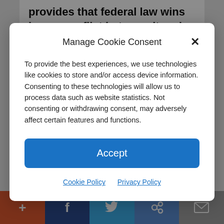provides that federal law wins in any conflict between it and a state law:
(This Constitution, and the Laws…
Manage Cookie Consent
To provide the best experiences, we use technologies like cookies to store and/or access device information. Consenting to these technologies will allow us to process data such as website statistics. Not consenting or withdrawing consent, may adversely affect certain features and functions.
Accept
Cookie Policy   Privacy Policy
Laws of any State to the Contrary